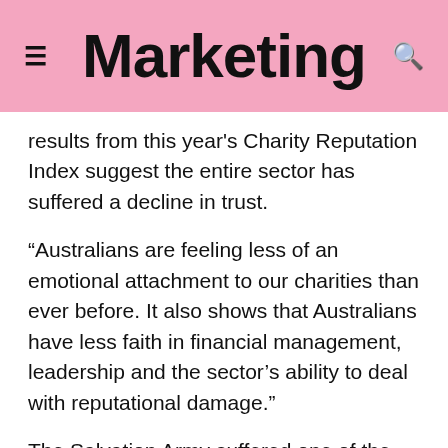Marketing
results from this year's Charity Reputation Index suggest the entire sector has suffered a decline in trust.
“Australians are feeling less of an emotional attachment to our charities than ever before. It also shows that Australians have less faith in financial management, leadership and the sector’s ability to deal with reputational damage.”
The Salvation Army suffered one of the worst declines in rankings on individual dimensions – for leadership, this year it dropped to 29th place after